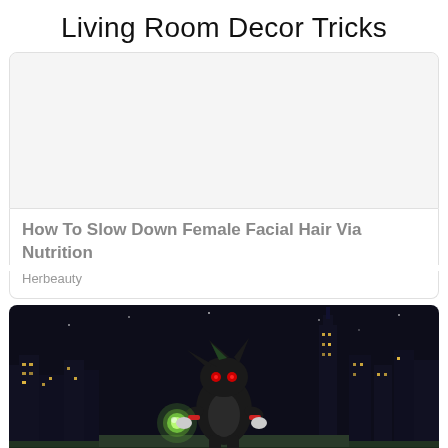Living Room Decor Tricks
[Figure (illustration): White placeholder image area inside a card]
How To Slow Down Female Facial Hair Via Nutrition
Herbeauty
[Figure (screenshot): Animated character resembling Shadow the Hedgehog from Sonic, holding a glowing orb, standing on a rooftop with a city skyline at night in the background. A red CLOSE button is visible at the bottom right.]